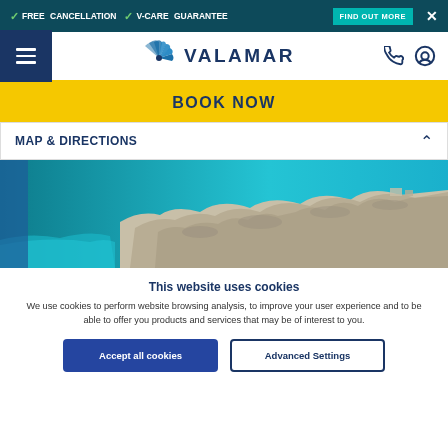FREE CANCELLATION  V-CARE GUARANTEE  FIND OUT MORE
[Figure (logo): Valamar logo with stylized shell icon and text VALAMAR]
BOOK NOW
MAP & DIRECTIONS
[Figure (photo): Aerial view of rocky Croatian coastline with turquoise blue sea water]
This website uses cookies
We use cookies to perform website browsing analysis, to improve your user experience and to be able to offer you products and services that may be of interest to you.
Accept all cookies | Advanced Settings